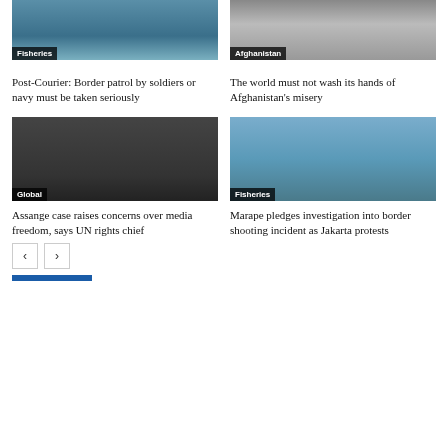[Figure (photo): Fishing boats on water, Fisheries tag]
Post-Courier: Border patrol by soldiers or navy must be taken seriously
[Figure (photo): People walking on a street in Afghanistan, Afghanistan tag]
The world must not wash its hands of Afghanistan's misery
[Figure (photo): Protesters with Free Assange sign outside court, Global tag]
Assange case raises concerns over media freedom, says UN rights chief
[Figure (photo): Fishing boats on a bay with hills, Fisheries tag]
Marape pledges investigation into border shooting incident as Jakarta protests